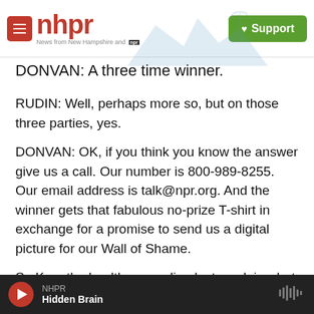nhpr — News from New Hampshire and NPR | Support
DONVAN: A three time winner.
RUDIN: Well, perhaps more so, but on those three parties, yes.
DONVAN: OK, if you think you know the answer give us a call. Our number is 800-989-8255. Our email address is talk@npr.org. And the winner gets that fabulous no-prize T-shirt in exchange for a promise to send us a digital picture for our Wall of Shame.
So Ken, the health care ruling last week is what everybody is talking about. What does it mean for
NHPR — Hidden Brain